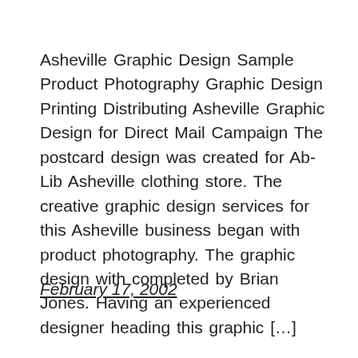Asheville Graphic Design Sample Product Photography Graphic Design Printing Distributing Asheville Graphic Design for Direct Mail Campaign The postcard design was created for Ab-Lib Asheville clothing store. The creative graphic design services for this Asheville business began with product photography. The graphic design with completed by Brian Jones. Having an experienced designer heading this graphic […]
February 17, 2002